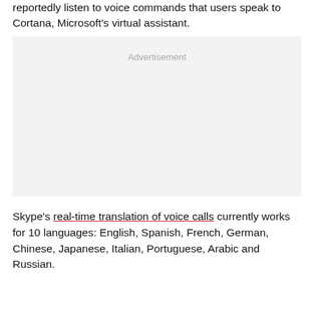reportedly listen to voice commands that users speak to Cortana, Microsoft's virtual assistant.
[Figure (other): Advertisement placeholder box with gray background and 'Advertisement' label in light gray text]
Skype's real-time translation of voice calls currently works for 10 languages: English, Spanish, French, German, Chinese, Japanese, Italian, Portuguese, Arabic and Russian.